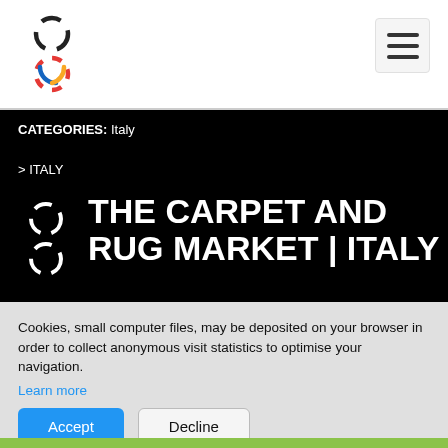CATEGORIES: Italy
> ITALY
THE CARPET AND RUG MARKET | ITALY
ACCESS THE MARKET STUDY
Cookies, small computer files, may be deposited on your browser in order to collect anonymous visit statistics to optimise your navigation. Learn more
Accept
Decline